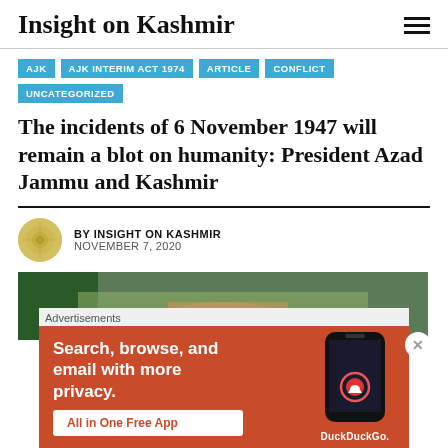Insight on Kashmir
AJK
AJK INTERIM ACT 1974
ARTICLE
CONFLICT
UNCATEGORIZED
The incidents of 6 November 1947 will remain a blot on humanity: President Azad Jammu and Kashmir
BY INSIGHT ON KASHMIR
NOVEMBER 7, 2020
[Figure (photo): Article header image showing a person at a formal setting]
Advertisements
[Figure (infographic): DuckDuckGo advertisement: Search, browse, and email with more privacy. All in One Free App. Shows a smartphone with DuckDuckGo logo.]